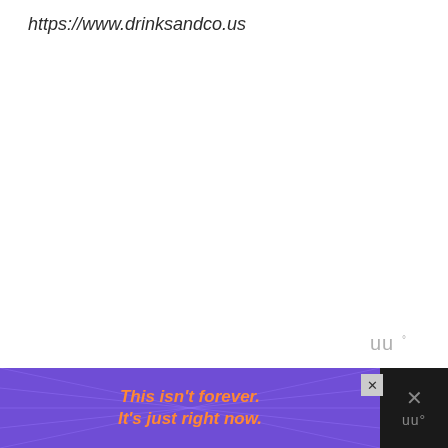https://www.drinksandco.us
[Figure (logo): Watermark logo with stylized 'W' letters and degree symbol in gray]
The trick to having a super fun girls night is to
[Figure (screenshot): Advertisement banner with purple background and ray pattern, orange bold italic text reading 'This isn't forever. It's just right now.' with close button X and dark right panel with X and W logo icons]